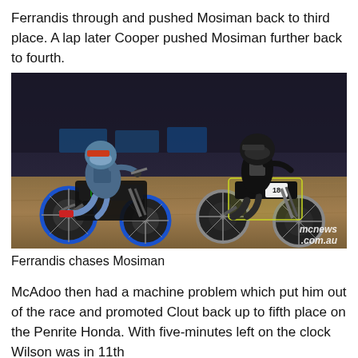Ferrandis through and pushed Mosiman back to third place. A lap later Cooper pushed Mosiman further back to fourth.
[Figure (photo): Motocross race photo showing two riders on dirt bikes racing on an indoor dirt track. Left rider on a dark Yamaha with blue wheels wearing blue/grey gear and Monster Energy helmet. Right rider on a Husqvarna wearing black/white gear. Arena setting with dirt track. Watermark reads mcnews .com.au in bottom right corner.]
Ferrandis chases Mosiman
McAdoo then had a machine problem which put him out of the race and promoted Clout back up to fifth place on the Penrite Honda. With five-minutes left on the clock Wilson was in 11th